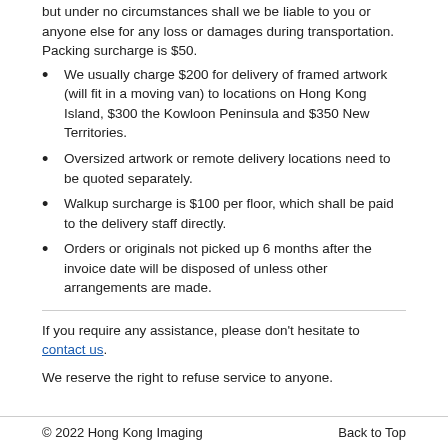but under no circumstances shall we be liable to you or anyone else for any loss or damages during transportation. Packing surcharge is $50.
We usually charge $200 for delivery of framed artwork (will fit in a moving van) to locations on Hong Kong Island, $300 the Kowloon Peninsula and $350 New Territories.
Oversized artwork or remote delivery locations need to be quoted separately.
Walkup surcharge is $100 per floor, which shall be paid to the delivery staff directly.
Orders or originals not picked up 6 months after the invoice date will be disposed of unless other arrangements are made.
If you require any assistance, please don't hesitate to contact us.
We reserve the right to refuse service to anyone.
© 2022 Hong Kong Imaging    Back to Top